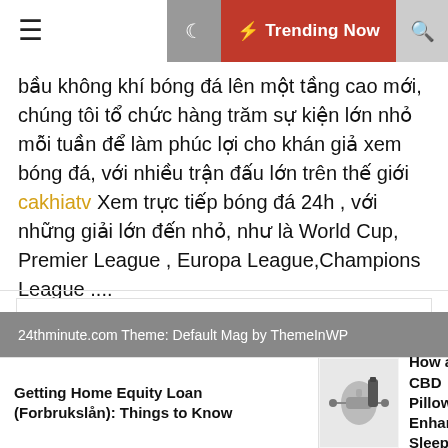☰  🌙  ⚡ Trending Now  🔍
bầu không khí bóng đá lên một tầng cao mới, chúng tôi tổ chức hàng trăm sự kiện lớn nhỏ mỗi tuần để làm phúc lợi cho khán giả xem bóng đá, với nhiều trận đấu lớn trên thế giới cakhiatv Xem trực tiếp bóng đá 24h , với những giải lớn đến nhỏ, như là World Cup, Premier League , Europa League,Champions League ....
Visit Now
Technology
24thminute.com Theme: Default Mag by ThemeInWP
Getting Home Equity Loan (Forbrukslån): Things to Know
How a CBD Pillow Enhances Sleep –